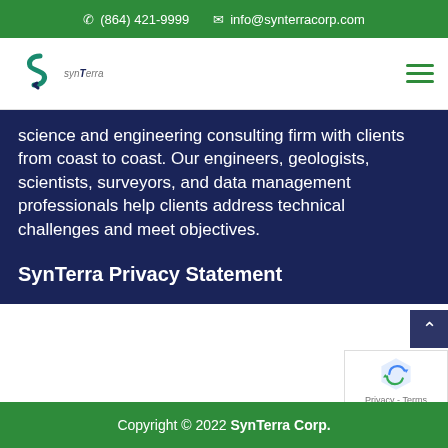(864) 421-9999   info@synterracorp.com
[Figure (logo): SynTerra company logo with stylized S icon and text 'synTerra']
science and engineering consulting firm with clients from coast to coast. Our engineers, geologists, scientists, surveyors, and data management professionals help clients address technical challenges and meet objectives.
SynTerra Privacy Statement
Copyright © 2022 SynTerra Corp.